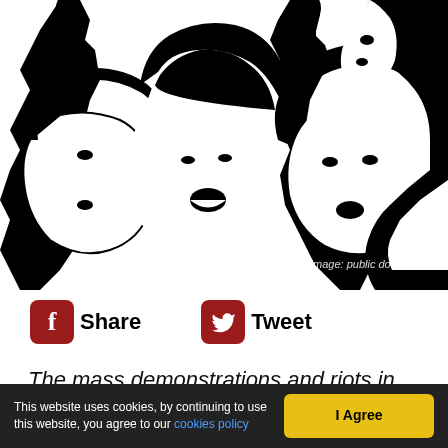[Figure (illustration): Black and white stencil-style illustration of women protesters with raised fists and open mouths, shouting. Text 'Image: public domain' visible in lower right of image.]
Share
Tweet
The mass demonstrations and riots in Iran are the
This website uses cookies, by continuing to use this website, you agree to our cookies policy  I Agree